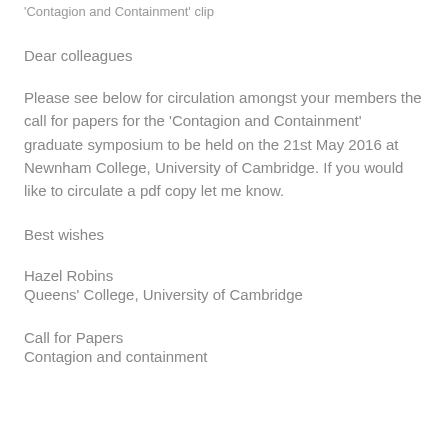'Contagion and Containment' clip
Dear colleagues
Please see below for circulation amongst your members the call for papers for the 'Contagion and Containment' graduate symposium to be held on the 21st May 2016 at Newnham College, University of Cambridge. If you would like to circulate a pdf copy let me know.
Best wishes
Hazel Robins
Queens' College, University of Cambridge
Call for Papers
Contagion and containment